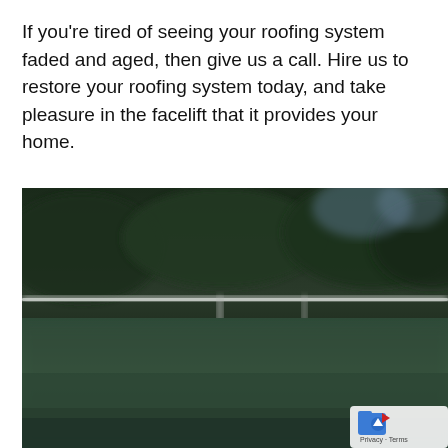If you're tired of seeing your roofing system faded and aged, then give us a call. Hire us to restore your roofing system today, and take pleasure in the facelift that it provides your home.
[Figure (photo): A blurry outdoor photo showing a low angle view of what appears to be a green sports court or field with a white net or fence rail visible in the middle ground, and dark trees in the background. In the lower right corner there is a small overlay with a blue icon and text reading 'Privacy · Terms'.]